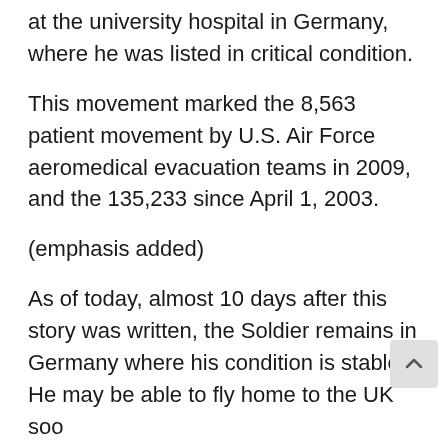at the university hospital in Germany, where he was listed in critical condition.
This movement marked the 8,563 patient movement by U.S. Air Force aeromedical evacuation teams in 2009, and the 135,233 since April 1, 2003.
(emphasis added)
As of today, almost 10 days after this story was written, the Soldier remains in Germany where his condition is stable. He may be able to fly home to the UK soo
The doctors say it's a miracle.